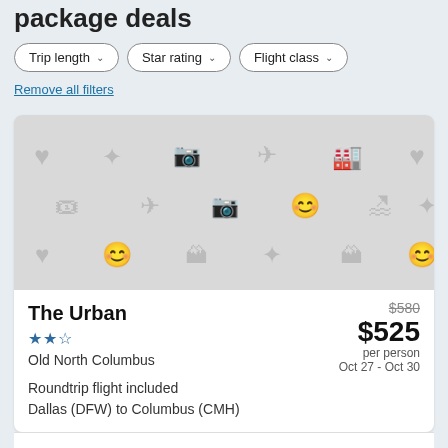package deals
Trip length
Star rating
Flight class
Remove all filters
[Figure (illustration): Placeholder card image with travel-related icons on a light gray background (hearts, stars, airplanes, ticket icons, smiley faces, hotel icons)]
The Urban
★★½
Old North Columbus
$580
$525
per person
Oct 27 - Oct 30
Roundtrip flight included
Dallas (DFW) to Columbus (CMH)
A spa tub, free self parking, and laundry facilities are featured at this hotel. WiFi in public areas is free. There's a communal livi